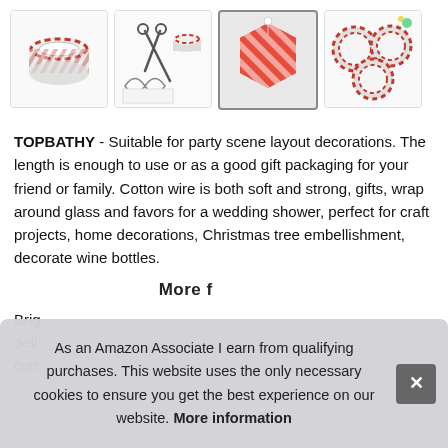[Figure (photo): Four product images of red and white twine/baker's twine in a horizontal row: (1) a spool of red-white twisted cord on white background, (2) twine with scissors and gift wrapping items, (3) a red hexagonal gift box with striped ribbon and tag, (4) three round balls of red-white cord]
TOPBATHY - Suitable for party scene layout decorations. The length is enough to use or as a good gift packaging for your friend or family. Cotton wire is both soft and strong, gifts, wrap around glass and favors for a wedding shower, perfect for craft projects, home decorations, Christmas tree embellishment, decorate wine bottles.
More information
Brig
deli
cott
As an Amazon Associate I earn from qualifying purchases. This website uses the only necessary cookies to ensure you get the best experience on our website. More information